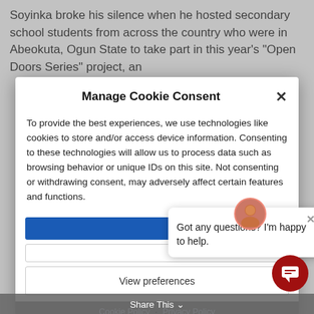Soyinka broke his silence when he hosted secondary school students from across the country who were in Abeokuta, Ogun State to take part in this year's “Open Doors Series” project, an
Manage Cookie Consent
To provide the best experiences, we use technologies like cookies to store and/or access device information. Consenting to these technologies will allow us to process data such as browsing behavior or unique IDs on this site. Not consenting or withdrawing consent, may adversely affect certain features and functions.
View preferences
Got any questions? I’m happy to help.
Cookie Policy · Privacy Policy
Share This